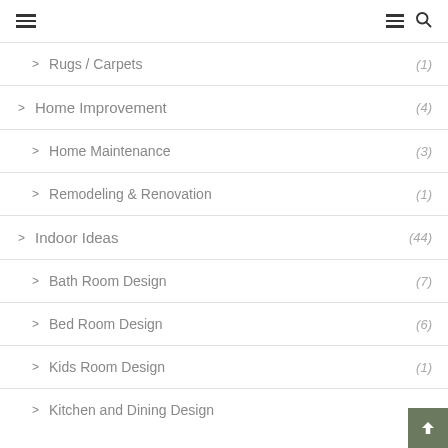Navigation menu header with hamburger icons and search
> Rugs / Carpets (1)
> Home Improvement (4)
> Home Maintenance (3)
> Remodeling & Renovation (1)
> Indoor Ideas (44)
> Bath Room Design (7)
> Bed Room Design (6)
> Kids Room Design (1)
> Kitchen and Dining Design